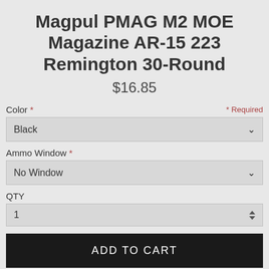Magpul PMAG M2 MOE Magazine AR-15 223 Remington 30-Round
$16.85
Color * * Required
Black
Ammo Window *
No Window
QTY
1
ADD TO CART